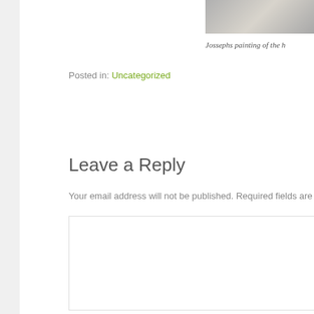[Figure (photo): Partial view of a painting image cropped at top right]
Jossephs painting of the h
Posted in: Uncategorized
Leave a Reply
Your email address will not be published. Required fields are ma
[Figure (other): Comment text area input box (empty white rectangle with border)]